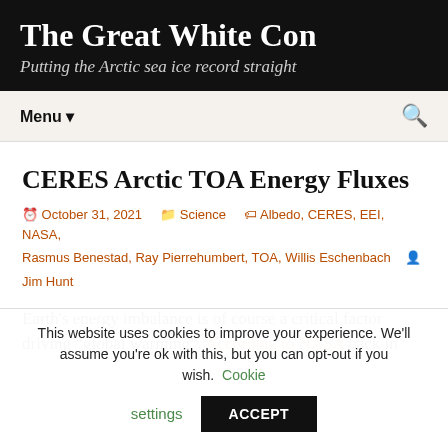The Great White Con
Putting the Arctic sea ice record straight
Menu
CERES Arctic TOA Energy Fluxes
October 31, 2021   Science   Albedo, CERES, EEI, NASA, Rasmus Benestad, Ray Pierrehumbert, TOA, Willis Eschenbach   Jim Hunt
Earth's energy imbalance is of course a critical factor driving “global warming”. According to NASA back in
This website uses cookies to improve your experience. We'll assume you're ok with this, but you can opt-out if you wish. Cookie settings ACCEPT